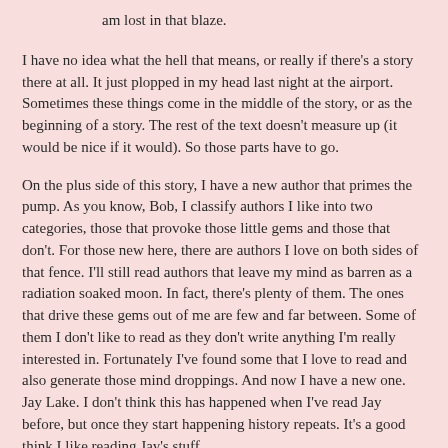am lost in that blaze.
I have no idea what the hell that means, or really if there's a story there at all. It just plopped in my head last night at the airport. Sometimes these things come in the middle of the story, or as the beginning of a story. The rest of the text doesn't measure up (it would be nice if it would). So those parts have to go.
On the plus side of this story, I have a new author that primes the pump. As you know, Bob, I classify authors I like into two categories, those that provoke those little gems and those that don't. For those new here, there are authors I love on both sides of that fence. I'll still read authors that leave my mind as barren as a radiation soaked moon. In fact, there's plenty of them. The ones that drive these gems out of me are few and far between. Some of them I don't like to read as they don't write anything I'm really interested in. Fortunately I've found some that I love to read and also generate those mind droppings. And now I have a new one. Jay Lake. I don't think this has happened when I've read Jay before, but once they start happening history repeats. It's a good think I like reading Jay's stuff.